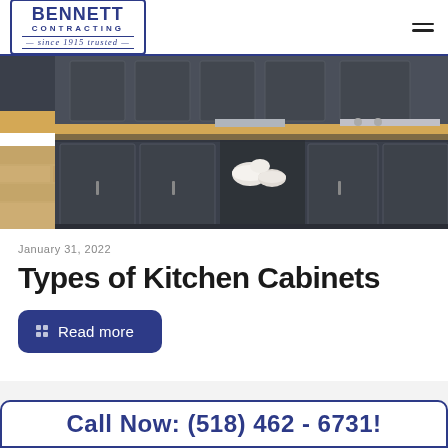BENNETT CONTRACTING since 1915 trusted
[Figure (photo): Kitchen with dark navy/charcoal cabinets, butcher block countertops, and light wood flooring. Open shelving shows white bowls. Modern hardware on cabinet doors.]
January 31, 2022
Types of Kitchen Cabinets
Read more
Call Now: (518) 462 - 6731!